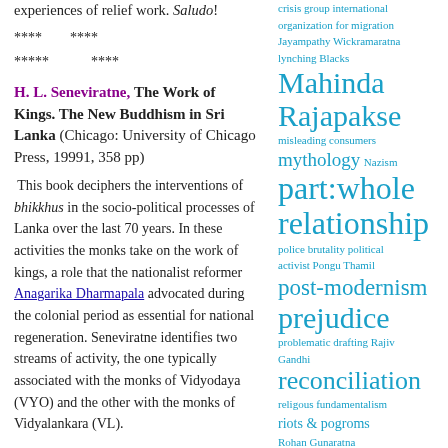experiences of relief work. Saludo!
****        ****
*****            ****
H. L. Seneviratne, The Work of Kings. The New Buddhism in Sri Lanka (Chicago: University of Chicago Press, 19991, 358 pp)
This book deciphers the interventions of bhikkhus in the socio-political processes of Lanka over the last 70 years. In these activities the monks take on the work of kings, a role that the nationalist reformer Anagarika Dharmapala advocated during the colonial period as essential for national regeneration. Seneviratne identifies two streams of activity, the one typically associated with the monks of Vidyodaya (VYO) and the other with the monks of Vidyalankara (VL).
crisis group international
organization for migration
Jayampathy Wickramaratna
lynching Blacks
Mahinda Rajapakse
misleading consumers
mythology Nazism
part:whole relationship
police brutality political activist Pongu Thamil
post-modernism
prejudice
problematic drafting Rajiv Gandhi
reconciliation
religous fundamentalism
riots & pogroms
Rohan Gunaratna
sacrifice Said's "Orientalism"
Sinhala